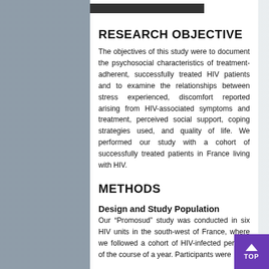[Figure (photo): Background photo showing medical/clinical setting with blurred figures in blue, overlaid with white content panel]
RESEARCH OBJECTIVE
The objectives of this study were to document the psychosocial characteristics of treatment-adherent, successfully treated HIV patients and to examine the relationships between stress experienced, discomfort reported arising from HIV-associated symptoms and treatment, perceived social support, coping strategies used, and quality of life. We performed our study with a cohort of successfully treated patients in France living with HIV.
METHODS
Design and Study Population
Our “Promosud” study was conducted in six HIV units in the south-west of France, where we followed a cohort of HIV-infected persons of the course of a year. Participants were